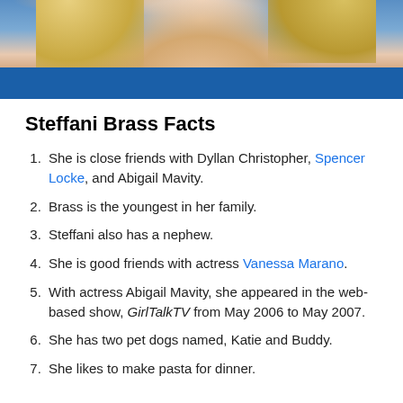[Figure (photo): Partial photo of a blonde person wearing a blue top, showing face/neck area cropped at top of page]
Steffani Brass Facts
She is close friends with Dyllan Christopher, Spencer Locke, and Abigail Mavity.
Brass is the youngest in her family.
Steffani also has a nephew.
She is good friends with actress Vanessa Marano.
With actress Abigail Mavity, she appeared in the web-based show, GirlTalkTV from May 2006 to May 2007.
She has two pet dogs named, Katie and Buddy.
She likes to make pasta for dinner.